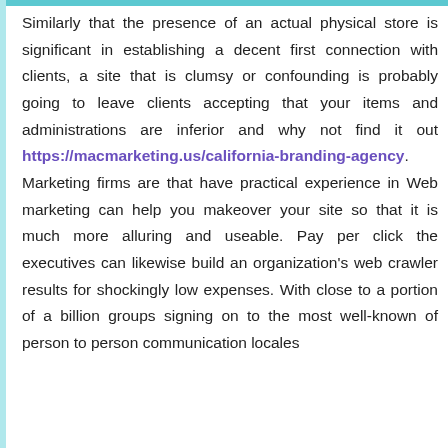Similarly that the presence of an actual physical store is significant in establishing a decent first connection with clients, a site that is clumsy or confounding is probably going to leave clients accepting that your items and administrations are inferior and why not find it out https://macmarketing.us/california-branding-agency. Marketing firms are that have practical experience in Web marketing can help you makeover your site so that it is much more alluring and useable. Pay per click the executives can likewise build an organization's web crawler results for shockingly low expenses. With close to a portion of a billion groups signing on to the most well-known of person to person communication locales